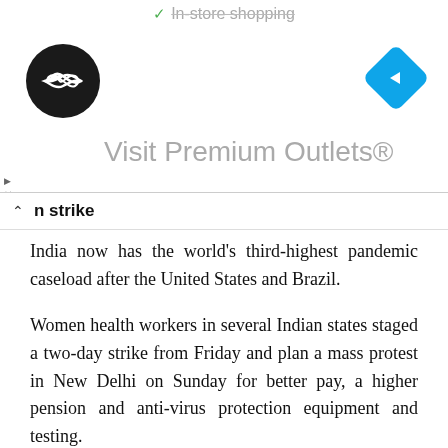[Figure (screenshot): Advertisement banner for Premium Outlets with a dark circular logo with infinity-like arrows and a blue diamond navigation icon. Top strip shows strikethrough text 'In-store shopping' with a checkmark.]
n strike
India now has the world’s third-highest pandemic caseload after the United States and Brazil.
Women health workers in several Indian states staged a two-day strike from Friday and plan a mass protest in New Delhi on Sunday for better pay, a higher pension and anti-virus protection equipment and testing.
Shiksha Rana, a social health activist in New Delhi, told AFP at least 200 health workers — and their families — had been infected in the Delhi region alon…